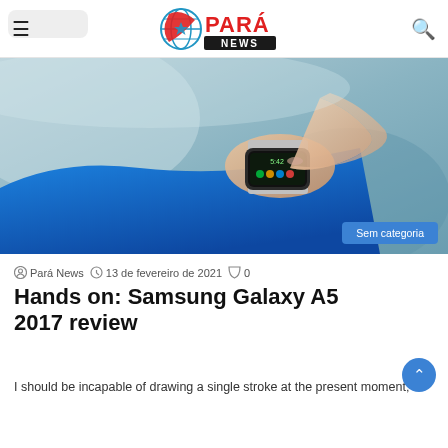Pará News
[Figure (photo): Person wearing a smartwatch on their wrist, with another hand touching the watch display. Person wearing a blue long-sleeve shirt. Category label 'Sem categoria' in lower right.]
Pará News  13 de fevereiro de 2021  0
Hands on: Samsung Galaxy A5 2017 review
I should be incapable of drawing a single stroke at the present moment;